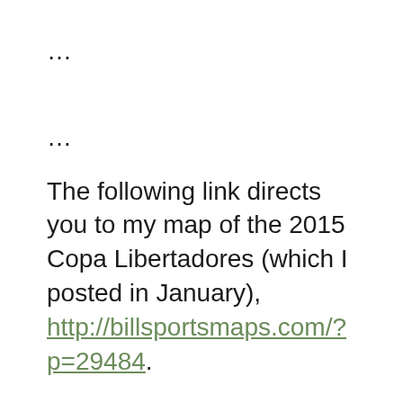…
…
The following link directs you to my map of the 2015 Copa Libertadores (which I posted in January), http://billsportsmaps.com/?p=29484.
Below is the all-time Copa Libertadores appearances chart for 2015 qualified teams (with titles listed). To read the chart easier,